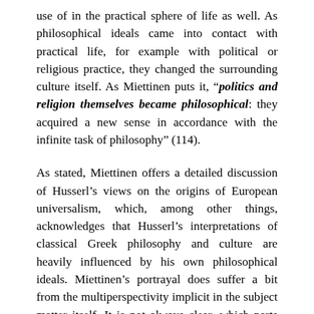use of in the practical sphere of life as well. As philosophical ideals came into contact with practical life, for example with political or religious practice, they changed the surrounding culture itself. As Miettinen puts it, “politics and religion themselves became philosophical: they acquired a new sense in accordance with the infinite task of philosophy” (114).
As stated, Miettinen offers a detailed discussion of Husserl’s views on the origins of European universalism, which, among other things, acknowledges that Husserl’s interpretations of classical Greek philosophy and culture are heavily influenced by his own philosophical ideals. Miettinen’s portrayal does suffer a bit from the multiperspectivity implicit in the subject matter itself. It is not always clear, which parts are meant as presentations of genuine Greek philosophy, which